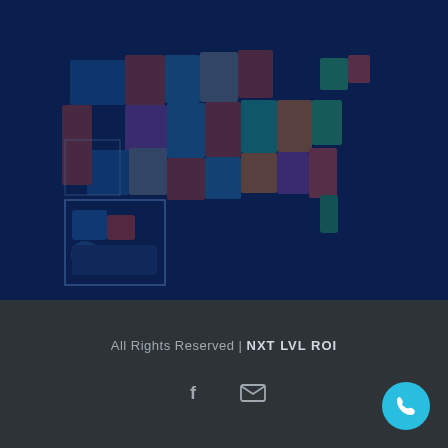[Figure (map): Dark navy blue background with a faint colorful map of the United States (states shown in muted reds, blues, greens), with inset boxes for Alaska and Hawaii in the lower left.]
All Rights Reserved | NXT LVL ROI
[Figure (infographic): Social media icons: a white Facebook 'f' icon and a white envelope/mail icon, centered in the dark footer area.]